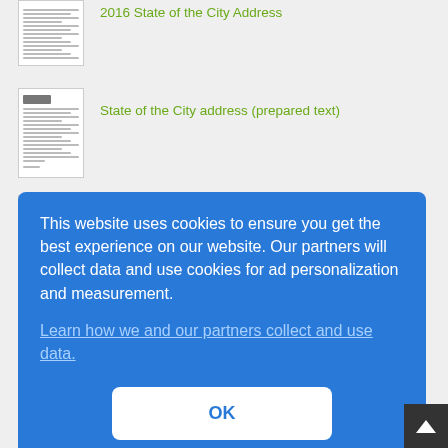[Figure (screenshot): Thumbnail of a document page with text lines]
2016 State of the City Address
[Figure (screenshot): Thumbnail of a document page with signature and text lines]
State of the City address (prepared text)
[Figure (screenshot): Thumbnail of a document page with seal/logo]
RING 2011 State of the City Address
This website uses cookies to ensure you get the best experience on our website. Our partners will collect data and use cookies for ad personalization and measurement.
Learn how we and our partners collect and use data.
OK